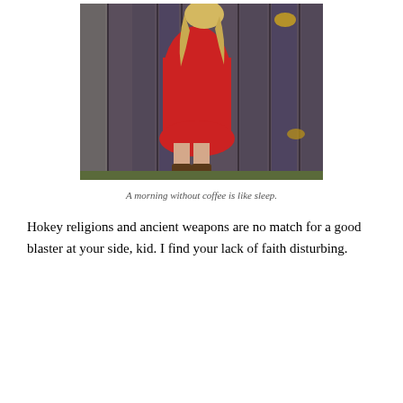[Figure (photo): A woman in a red dress and cowboy boots leaning against a weathered wooden fence/barn wall. She has long blonde hair and is posed sideways.]
A morning without coffee is like sleep.
Hokey religions and ancient weapons are no match for a good blaster at your side, kid. I find your lack of faith disturbing.